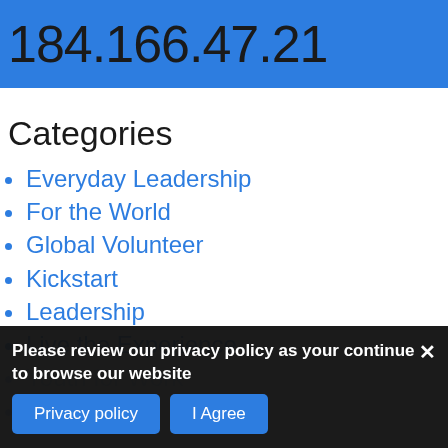184.166.47.21
Categories
Everyday Leadership
For the World
Global Volunteer
Kickstart
Leadership
Live the Experience
Youth for Work
YouthOS
Please review our privacy policy as your continue to browse our website